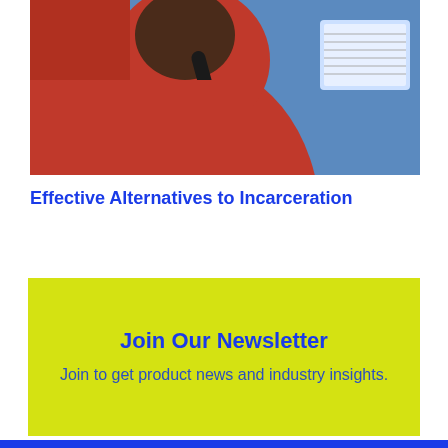[Figure (photo): A person in a red/orange jacket using a telephone handset, with a screen visible in the background.]
Effective Alternatives to Incarceration
Join Our Newsletter
Join to get product news and industry insights.